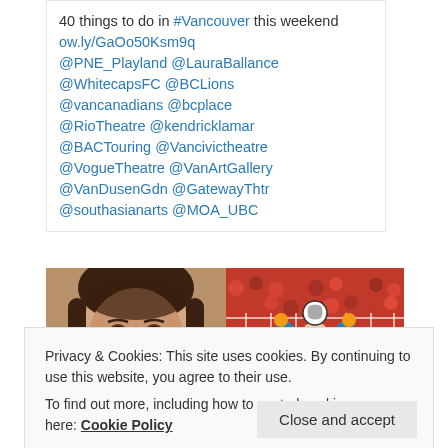40 things to do in #Vancouver this weekend ow.ly/GaOo50Ksm9q @PNE_Playland @LauraBallance @WhitecapsFC @BCLions @vancanadians @bcplace @RioTheatre @kendricklamar @BACTouring @Vancivictheatre @VogueTheatre @VanArtGallery @VanDusenGdn @GatewayThtr @southasianarts @MOA_UBC
[Figure (photo): Close-up photo of a young girl's face with braided hair]
[Figure (photo): Soccer goalkeeper jumping to catch a ball in front of a goal net with crowd in background]
Privacy & Cookies: This site uses cookies. By continuing to use this website, you agree to their use.
To find out more, including how to control cookies, see here: Cookie Policy
Close and accept